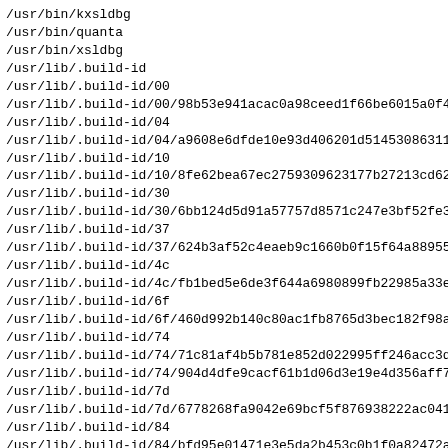/usr/bin/kxsldbg
/usr/bin/quanta
/usr/bin/xsldbg
/usr/lib/.build-id
/usr/lib/.build-id/00
/usr/lib/.build-id/00/98b53e941acac0a98ceed1f66be6015a0f4
/usr/lib/.build-id/04
/usr/lib/.build-id/04/a9608e6dfde10e93d406201d514530863111
/usr/lib/.build-id/10
/usr/lib/.build-id/10/8fe62bea67ec2759309623177b27213cd62
/usr/lib/.build-id/30
/usr/lib/.build-id/30/6bb124d5d91a57757d8571c247e3bf52fe3
/usr/lib/.build-id/37
/usr/lib/.build-id/37/624b3af52c4eaeb9c1660b0f15f64a88955
/usr/lib/.build-id/4c
/usr/lib/.build-id/4c/fb1bed5e6de3f644a6980899fb22985a33e
/usr/lib/.build-id/6f
/usr/lib/.build-id/6f/460d992b140c80ac1fb8765d3bec182f98a
/usr/lib/.build-id/74
/usr/lib/.build-id/74/71c81af4b5b781e852d022995ff246acc3d
/usr/lib/.build-id/74/904d4dfe9cacf61b1d06d3e19e4d356aff7
/usr/lib/.build-id/7d
/usr/lib/.build-id/7d/6778268fa9042e69bcf5f876938222ac041
/usr/lib/.build-id/84
/usr/lib/.build-id/84/bfd95e01471e3e5da2b453c0b1f0a82472a
/usr/lib/.build-id/a4
/usr/lib/.build-id/a4/cc4ce991ec25f1901c871b91782dbb01c99
/usr/lib/.build-id/a9
/usr/lib/.build-id/a9/f1e2f2a5353df063de4f6b25ac4fb5d30f6
/usr/lib/.build-id/ae